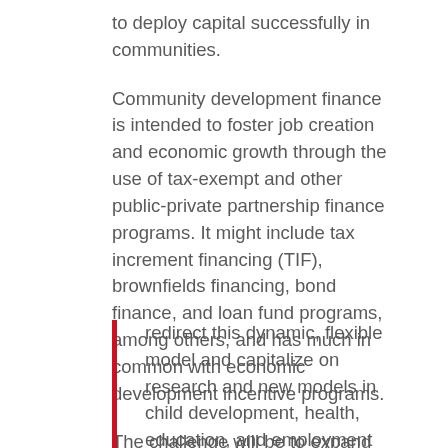to deploy capital successfully in communities.
Community development finance is intended to foster job creation and economic growth through the use of tax-exempt and other public-private partnership finance programs. It might include tax increment financing (TIF), brownfields financing, bond finance, and loan fund programs, among others, and has much in common with economic development incentive programs.
The challenge will be to expand beyond real estate investments and:
redirect this dynamic, flexible model and capitalize on research and new models in child development, health, education, and employment support. Moreover, problem-solvers need to look beyond the neighborhood, linking to